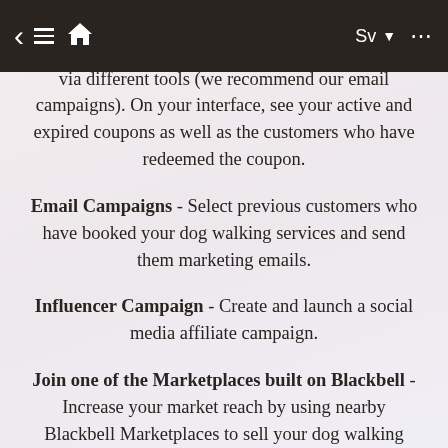< ≡ 🏠  Sv ▼ ...
amount, and the targeted services and customers. Share these coupons to the audience of your choice via different tools (we recommend our email campaigns). On your interface, see your active and expired coupons as well as the customers who have redeemed the coupon.
Email Campaigns - Select previous customers who have booked your dog walking services and send them marketing emails.
Influencer Campaign - Create and launch a social media affiliate campaign.
Join one of the Marketplaces built on Blackbell - Increase your market reach by using nearby Blackbell Marketplaces to sell your dog walking services in Ann Arbor. Select the page you would like to submit to that marketplace, and once your application is validated, you will start receiving bookings through that...